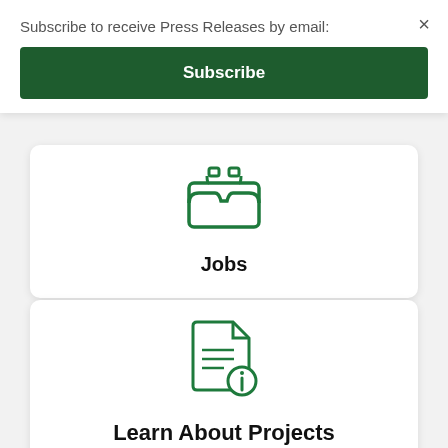Subscribe to receive Press Releases by email:
Subscribe
[Figure (illustration): Green briefcase/inbox tray icon]
Jobs
[Figure (illustration): Green document with info icon]
Learn About Projects